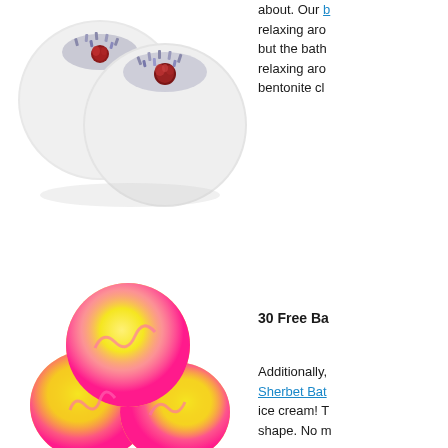[Figure (photo): Two white bath bombs topped with dried lavender and rose buds on a white background]
about. Our [link] relaxing aro but the bath relaxing aro bentonite cl
30 Free Ba
Additionally, [Sherbet Ba link] ice cream! T shape. No m
[Figure (photo): Scoops of colorful pink and yellow sherbet bath bomb shaped like ice cream scoops stacked together on white background]